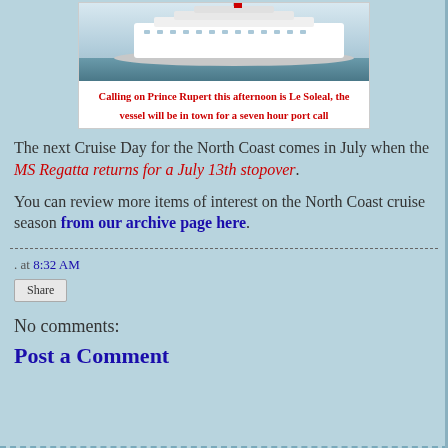[Figure (photo): Cruise ship Le Soleal on water with blue sky]
Calling on Prince Rupert this afternoon is Le Soleal, the vessel will be in town for a seven hour port call
The next Cruise Day for the North Coast comes in July when the MS Regatta returns for a July 13th stopover.
You can review more items of interest on the North Coast cruise season from our archive page here.
. at 8:32 AM
Share
No comments:
Post a Comment